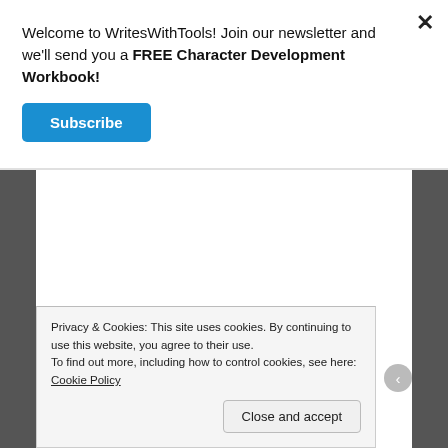Welcome to WritesWithTools! Join our newsletter and we'll send you a FREE Character Development Workbook!
Subscribe
Thanks!
Up Next
I've been MIA again for a lengthy period of time (sorry), but I'm feeling inspired to do that post on
Privacy & Cookies: This site uses cookies. By continuing to use this website, you agree to their use.
To find out more, including how to control cookies, see here: Cookie Policy
Close and accept